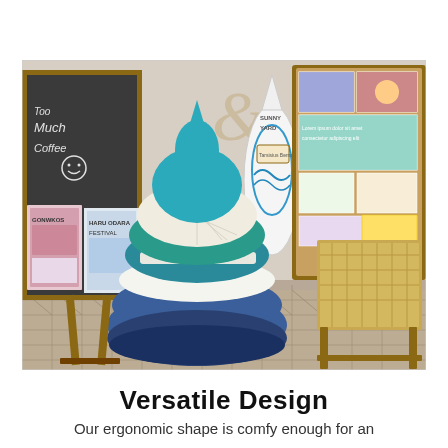[Figure (photo): A bean bag chair with teal, white, and navy blue stripes displayed in a casual cafe or shop interior. Behind it is a chalkboard with 'Too Much Coffee' written, festival posters on the left, a surfboard in the center background, and a cork bulletin board with flyers on the right next to a wooden-framed wicker chair. The floor has a decorative tile pattern.]
Versatile Design
Our ergonomic shape is comfy enough for an